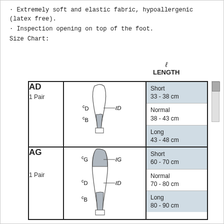Extremely soft and elastic fabric, hypoallergenic (latex free).
Inspection opening on top of the foot.
Size Chart:
[Figure (table-as-image): Size chart diagram showing AD and AG compression stocking types with leg diagrams indicating measurement points cD, lD, cB for AD and cG, lG, cD, lD, cB for AG, with length categories Short/Normal/Long and their cm ranges]
| Type | Diagram | LENGTH |
| --- | --- | --- |
| AD
1 Pair | leg diagram with cD, lD, cB | Short 33-38 cm
Normal 38-43 cm
Long 43-48 cm |
| AG
1 Pair | leg diagram with cG, lG, cD, lD, cB | Short 60-70 cm
Normal 70-80 cm
Long 80-90 cm |